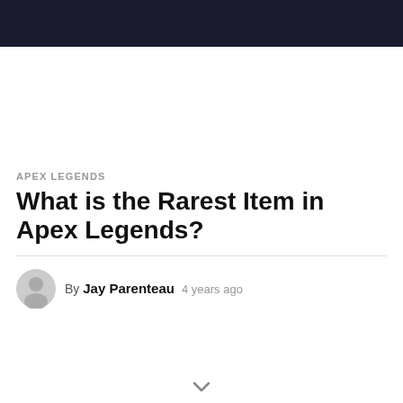APEX LEGENDS  FORTNITE  STREAMER  NEWS
APEX LEGENDS
What is the Rarest Item in Apex Legends?
By Jay Parenteau  4 years ago